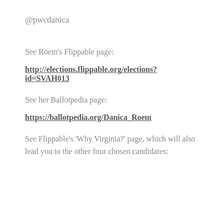@pwcdanica
See Roem’s Flippable page:
http://elections.flippable.org/elections?id=SVAH013
See her Ballotpedia page:
https://ballotpedia.org/Danica_Roem
See Flippable’s ‘Why Virginia?’ page, which will also lead you to the other four chosen candidates: